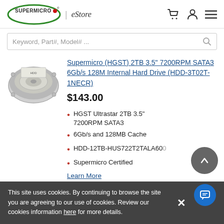[Figure (logo): Supermicro eStore logo with green oval and red dot]
Keyword, Part#, Model# ...
[Figure (photo): HGST 3.5 inch internal hard drive photo]
Supermicro (HGST) 2TB 3.5" 7200RPM SATA3 6Gb/s 128M Internal Hard Drive (HDD-3T02T-1NECR)
$143.00
HGST Ultrastar 2TB 3.5" 7200RPM SATA3
6Gb/s and 128MB Cache
HDD-12TB-HUS722T2TALA600
Supermicro Certified
Learn More
This site uses cookies. By continuing to browse the site you are agreeing to our use of cookies. Review our cookies information here for more details.